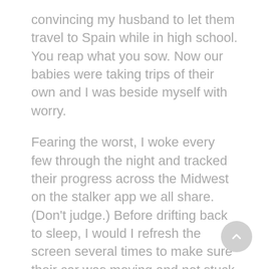convincing my husband to let them travel to Spain while in high school. You reap what you sow. Now our babies were taking trips of their own and I was beside myself with worry.
Fearing the worst, I woke every few through the night and tracked their progress across the Midwest on the stalker app we all share. (Don't judge.) Before drifting back to sleep, I would I refresh the screen several times to make sure their car was moving and not stuck in a ditch somewhere.
A wonderful friend suggested I imagine Jesus and Mary riding in the car with them. By the time they got to the mountains of West Virginia in the wee hours of the